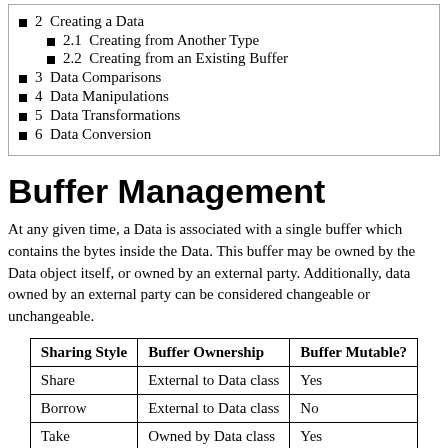2  Creating a Data
2.1  Creating from Another Type
2.2  Creating from an Existing Buffer
3  Data Comparisons
4  Data Manipulations
5  Data Transformations
6  Data Conversion
Buffer Management
At any given time, a Data is associated with a single buffer which contains the bytes inside the Data. This buffer may be owned by the Data object itself, or owned by an external party. Additionally, data owned by an external party can be considered changeable or unchangeable.
| Sharing Style | Buffer Ownership | Buffer Mutable? |
| --- | --- | --- |
| Share | External to Data class | Yes |
| Borrow | External to Data class | No |
| Take | Owned by Data class | Yes |